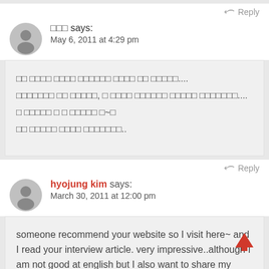Reply
□□□ says: May 6, 2011 at 4:29 pm
□□ □□□□ □□□□ □□□□□□ □□□□ □□ □□□□□....
□□□□□□□ □□ □□□□□, □ □□□□ □□□□□□ □□□□□ □□□□□□□....
□ □□□□□ □ □ □□□□□ □~□
□□ □□□□□ □□□□ □□□□□□□..
Reply
hyojung kim says: March 30, 2011 at 12:00 pm
someone recommend your website so I visit here~ and I read your interview article. very impressive..although I am not good at english but I also want to share my ability with people who need help. and thank you for your useful information.